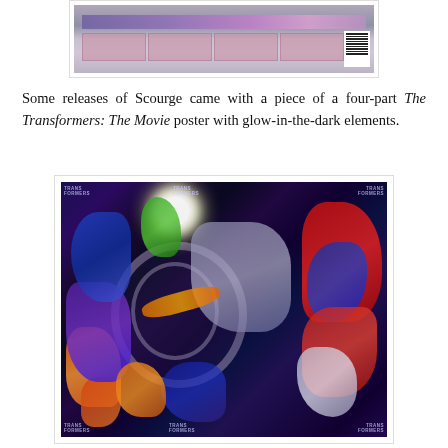[Figure (photo): Photograph of the back of a Transformers Scourge toy box/packaging showing a colorful graphic panel with purple header bar and pink content sections, with barcode on right side.]
Some releases of Scourge came with a piece of a four-part The Transformers: The Movie poster with glow-in-the-dark elements.
[Figure (photo): Four-panel The Transformers: The Movie poster assembled together showing a vibrant sci-fi battle scene with various Transformers characters including Autobots and Decepticons in action poses against a dark space/futuristic background. Each corner of the poster has a Transformers logo.]